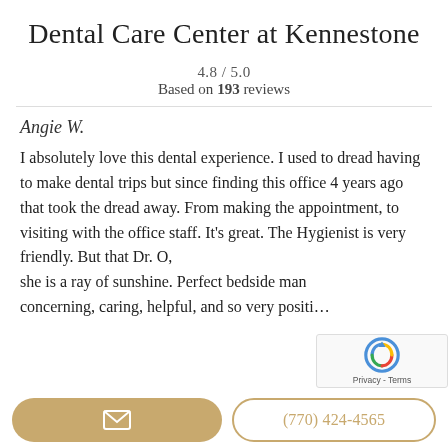Dental Care Center at Kennestone
4.8 / 5.0
Based on 193 reviews
Angie W.
I absolutely love this dental experience. I used to dread having to make dental trips but since finding this office 4 years ago that took the dread away. From making the appointment, to visiting with the office staff. It's great. The Hygienist is very friendly. But that Dr. O, she is a ray of sunshine. Perfect bedside man concerning, caring, helpful, and so very positi…
[Figure (other): reCAPTCHA widget overlay in bottom right]
Email button | (770) 424-4565 phone button